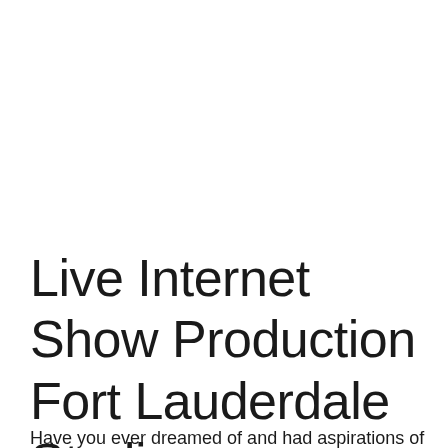Live Internet Show Production Fort Lauderdale Studio
Have you ever dreamed of and had aspirations of